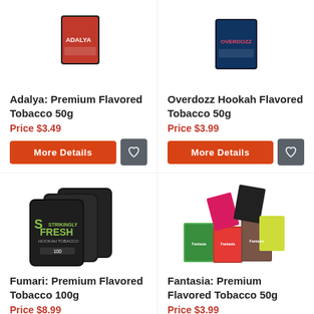[Figure (photo): Adalya premium flavored tobacco 50g product image (partially visible at top)]
Adalya: Premium Flavored Tobacco 50g
Price $3.49
[Figure (photo): Overdozz Hookah Flavored Tobacco 50g product image (partially visible at top)]
Overdozz Hookah Flavored Tobacco 50g
Price $3.99
[Figure (photo): Fumari Premium Flavored Tobacco 100g — three black bags with green FRESH branding]
Fumari: Premium Flavored Tobacco 100g
Price $8.99
[Figure (photo): Fantasia Premium Flavored Tobacco 50g — multiple colorful boxes stacked]
Fantasia: Premium Flavored Tobacco 50g
Price $3.99
$4.49